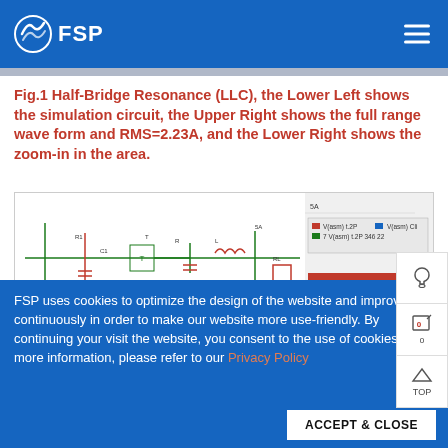FSP
Fig.1 Half-Bridge Resonance (LLC), the Lower Left shows the simulation circuit, the Upper Right shows the full range wave form and RMS=2.23A, and the Lower Right shows the zoom-in in the area.
[Figure (circuit-diagram): Half-Bridge Resonance (LLC) simulation circuit diagram with waveform outputs. Left portion shows the circuit schematic with components in green and red. Right portion shows simulation waveform results including a legend and a red waveform area.]
FSP uses cookies to optimize the design of the website and improve continuously in order to make our website more use-friendly. By continuing your visit the website, you consent to the use of cookies. For more information, please refer to our Privacy Policy
ACCEPT & CLOSE